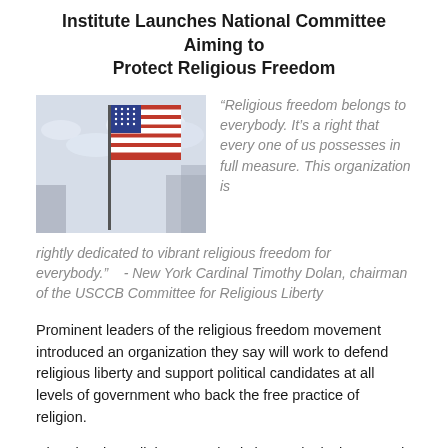Institute Launches National Committee Aiming to Protect Religious Freedom
[Figure (photo): Photo of an American flag waving against a cloudy sky with buildings in the background]
“Religious freedom belongs to everybody. It’s a right that every one of us possesses in full measure. This organization is rightly dedicated to vibrant religious freedom for everybody.”    - New York Cardinal Timothy Dolan, chairman of the USCCB Committee for Religious Liberty
Prominent leaders of the religious freedom movement introduced an organization they say will work to defend religious liberty and support political candidates at all levels of government who back the free practice of religion.
Charging that religious practice is increasingly threatened by legal maneuvering and public actions that seek to limit